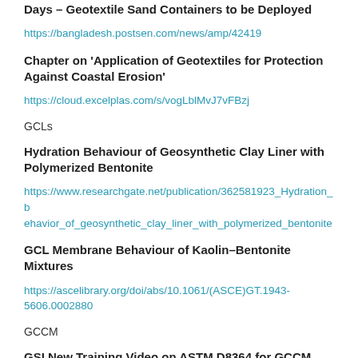Days – Geotextile Sand Containers to be Deployed
https://bangladesh.postsen.com/news/amp/42419
Chapter on 'Application of Geotextiles for Protection Against Coastal Erosion'
https://cloud.excelplas.com/s/vogLblMvJ7vFBzj
GCLs
Hydration Behaviour of Geosynthetic Clay Liner with Polymerized Bentonite
https://www.researchgate.net/publication/362581923_Hydration_behavior_of_geosynthetic_clay_liner_with_polymerized_bentonite
GCL Membrane Behaviour of Kaolin–Bentonite Mixtures
https://ascelibrary.org/doi/abs/10.1061/(ASCE)GT.1943-5606.0002880
GCCM
GSI New Training Video on ASTM D8364 for GCCM Thickness,